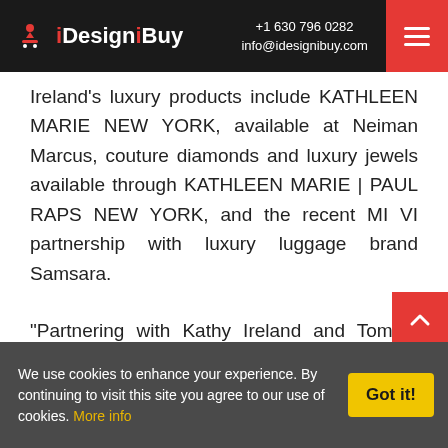iDesigniBuy | +1 630 796 0282 | info@idesignibuy.com
Ireland's luxury products include KATHLEEN MARIE NEW YORK, available at Neiman Marcus, couture diamonds and luxury jewels available through KATHLEEN MARIE | PAUL RAPS NEW YORK, and the recent MI VI partnership with luxury luggage brand Samsara.
“Partnering with Kathy Ireland and Tommy Meharey, along with the MI VI team is a drea…
We use cookies to enhance your experience. By continuing to visit this site you agree to our use of cookies. More info | Got it!